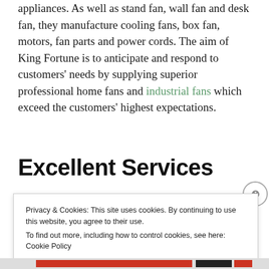appliances. As well as stand fan, wall fan and desk fan, they manufacture cooling fans, box fan, motors, fan parts and power cords. The aim of King Fortune is to anticipate and respond to customers' needs by supplying superior professional home fans and industrial fans which exceed the customers' highest expectations.
Excellent Services
Privacy & Cookies: This site uses cookies. By continuing to use this website, you agree to their use. To find out more, including how to control cookies, see here: Cookie Policy